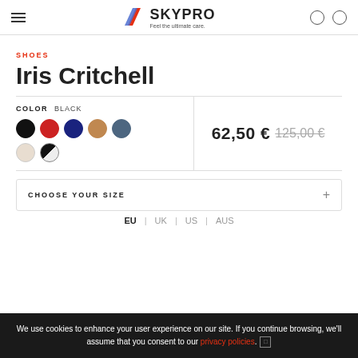SKYPRO — Feel the ultimate care.
SHOES
Iris Critchell
COLOR  BLACK
62,50 €  125,00 €
CHOOSE YOUR SIZE
EU | UK | US | AUS
We use cookies to enhance your user experience on our site. If you continue browsing, we'll assume that you consent to our privacy policies.